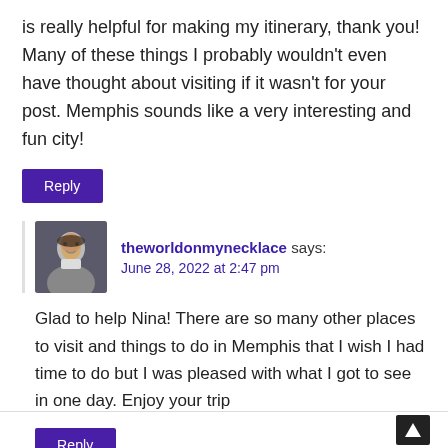is really helpful for making my itinerary, thank you! Many of these things I probably wouldn't even have thought about visiting if it wasn't for your post. Memphis sounds like a very interesting and fun city!
Reply
theworldonmynecklace says:
June 28, 2022 at 2:47 pm
Glad to help Nina! There are so many other places to visit and things to do in Memphis that I wish I had time to do but I was pleased with what I got to see in one day. Enjoy your trip
Reply